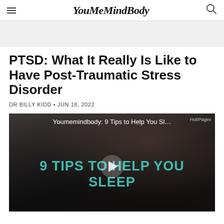YouMeMindBody
PTSD: What It Really Is Like to Have Post-Traumatic Stress Disorder
DR BILLY KIDD • JUN 18, 2022
[Figure (screenshot): Video thumbnail showing a person in distress, with text overlay '9 TIPS TO HELP YOU SLEEP' and play button. Video title: 'Youmemindbody: 9 Tips to Help You Sl...' HubPages watermark visible.]